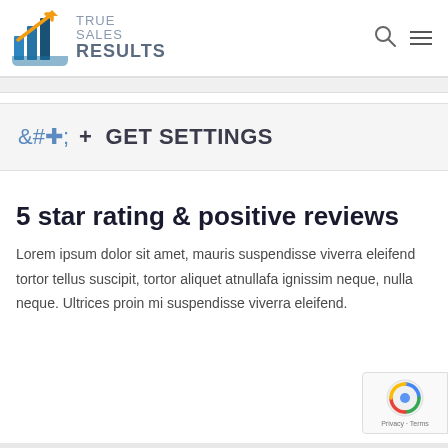[Figure (logo): True Sales Results logo with blue bar chart icon and orange arrow, text reading TRUE SALES RESULTS]
+ GET SETTINGS
5 star rating & positive reviews
Lorem ipsum dolor sit amet, mauris suspendisse viverra eleifend tortor tellus suscipit, tortor aliquet atnullafa ignissim neque, nulla neque. Ultrices proin mi suspendisse viverra eleifend.